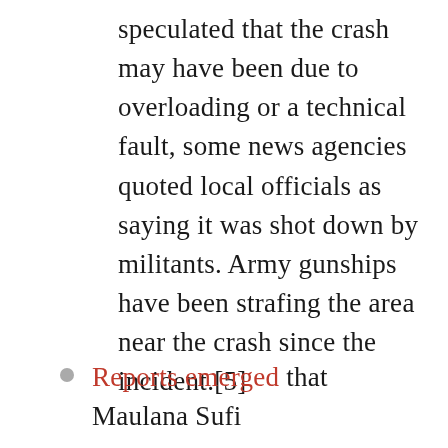speculated that the crash may have been due to overloading or a technical fault, some news agencies quoted local officials as saying it was shot down by militants. Army gunships have been strafing the area near the crash since the incident.[5]
Reports emerged that Maulana Sufi